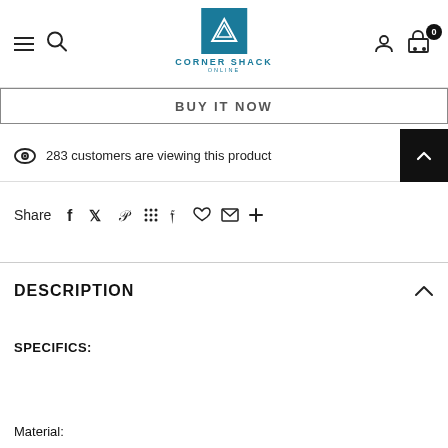Corner Shack Online — navigation header with hamburger menu, search, logo, user icon, cart (0)
BUY IT NOW
283 customers are viewing this product
Share
DESCRIPTION
SPECIFICS:
Material: